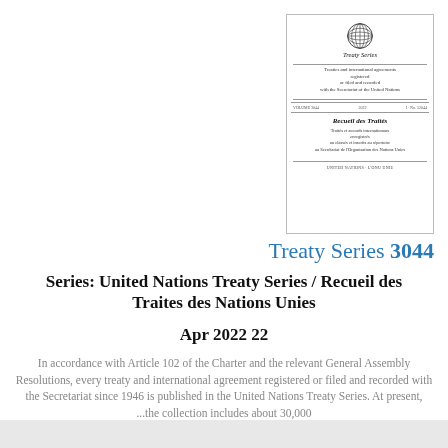[Figure (illustration): Thumbnail of United Nations Treaty Series / Recueil des Traites cover page with UN emblem, English and French text, and 'UNITED NATIONS / L'ONU' footer]
Treaty Series 3044
Series: United Nations Treaty Series / Recueil des Traites des Nations Unies
Apr 2022 22
In accordance with Article 102 of the Charter and the relevant General Assembly Resolutions, every treaty and international agreement registered or filed and recorded with the Secretariat since 1946 is published in the United Nations Treaty Series. At present, ...the collection includes about 30,000